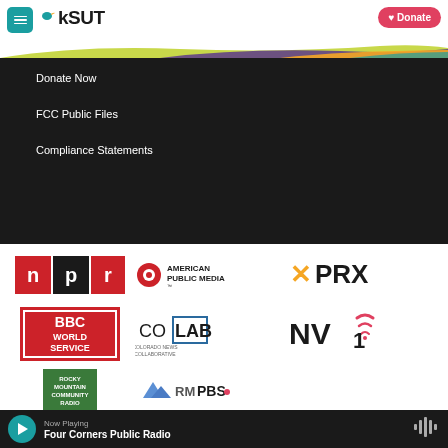[Figure (logo): KSUT public radio website header with hamburger menu, KSUT logo with bird icon, and red Donate button]
Donate Now
FCC Public Files
Compliance Statements
[Figure (logo): NPR logo - red/black square with n p r letters]
[Figure (logo): American Public Media logo - red circle with text]
[Figure (logo): PRX logo - orange X mark with PRX text]
[Figure (logo): BBC World Service logo - red/white BBC box with World Service text]
[Figure (logo): CoLab Colorado News Collaborative logo]
[Figure (logo): NV1 logo with radio signal lines]
[Figure (logo): Rocky Mountain Community Radio logo - green square]
[Figure (logo): RMPBS logo with mountain graphic]
Now Playing
Four Corners Public Radio